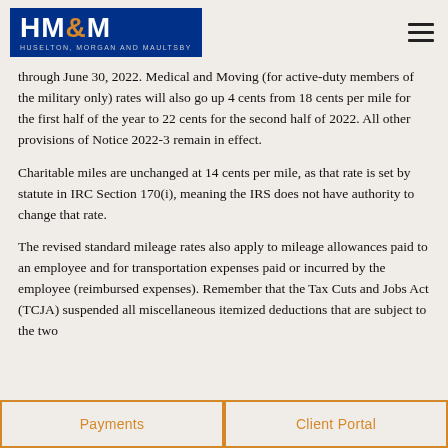HM&M — HUSELTON, MORGAN AND MAULTSBY
through June 30, 2022. Medical and Moving (for active-duty members of the military only) rates will also go up 4 cents from 18 cents per mile for the first half of the year to 22 cents for the second half of 2022. All other provisions of Notice 2022-3 remain in effect.
Charitable miles are unchanged at 14 cents per mile, as that rate is set by statute in IRC Section 170(i), meaning the IRS does not have authority to change that rate.
The revised standard mileage rates also apply to mileage allowances paid to an employee and for transportation expenses paid or incurred by the employee (reimbursed expenses). Remember that the Tax Cuts and Jobs Act (TCJA) suspended all miscellaneous itemized deductions that are subject to the two
Payments | Client Portal